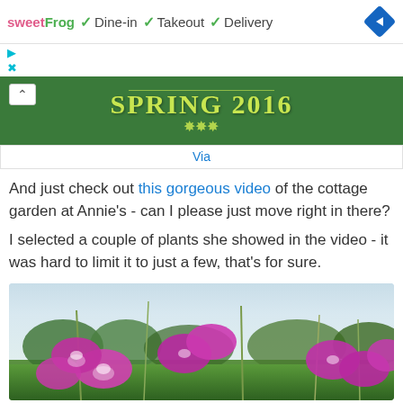[Figure (screenshot): Ad banner with sweetFrog logo, Dine-in, Takeout, Delivery checkmarks, and navigation diamond icon]
[Figure (photo): Spring 2016 text on green grass background with ornamental decoration and a chevron-up button]
Via
And just check out this gorgeous video of the cottage garden at Annie's - can I please just move right in there?
I selected a couple of plants she showed in the video - it was hard to limit it to just a few, that's for sure.
[Figure (photo): Close-up photo of purple/magenta flowers (likely prairie gentian or lisianthus) with tall grass stems against a bright sky with green trees in background]